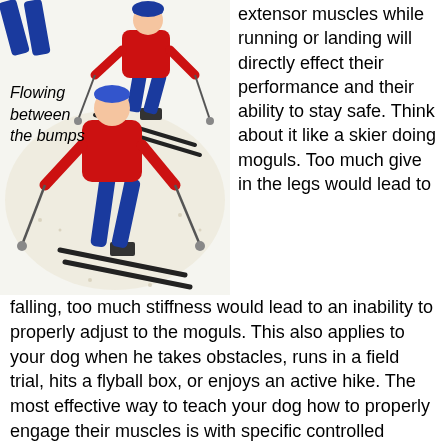[Figure (illustration): Drawing of two skiers in red jackets navigating mogul bumps on a ski slope, with blue ski equipment and poles visible. Caption reads 'Flowing between the bumps'.]
Flowing between the bumps
extensor muscles while running or landing will directly effect their performance and their ability to stay safe. Think about it like a skier doing moguls. Too much give in the legs would lead to falling, too much stiffness would lead to an inability to properly adjust to the moguls. This also applies to your dog when he takes obstacles, runs in a field trial, hits a flyball box, or enjoys an active hike. The most effective way to teach your dog how to properly engage their muscles is with specific controlled exercises that include technical variations that mimic real world scenarios. Don't confuse poor technique with technical variations variation. You must build a strong foundation of correct form and technique prior to